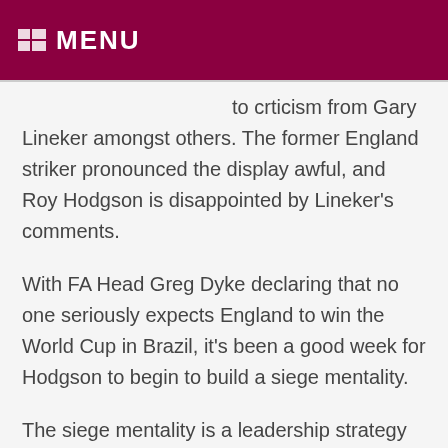MENU
to crticism from Gary Lineker amongst others. The former England striker pronounced the display awful, and Roy Hodgson is disappointed by Lineker’s comments.
With FA Head Greg Dyke declaring that no one seriously expects England to win the World Cup in Brazil, it’s been a good week for Hodgson to begin to build a siege mentality.
The siege mentality is a leadership strategy employed by most top managers. It’s about